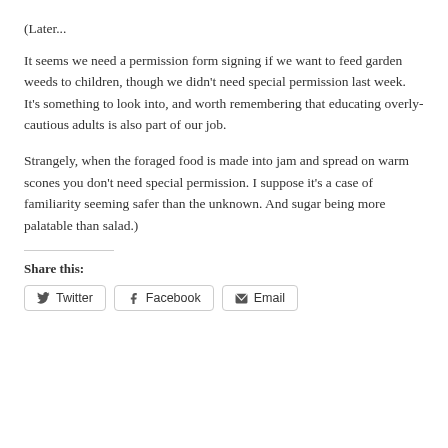(Later...
It seems we need a permission form signing if we want to feed garden weeds to children, though we didn't need special permission last week. It's something to look into, and worth remembering that educating overly-cautious adults is also part of our job.
Strangely, when the foraged food is made into jam and spread on warm scones you don't need special permission. I suppose it's a case of familiarity seeming safer than the unknown. And sugar being more palatable than salad.)
Share this:
Twitter  Facebook  Email